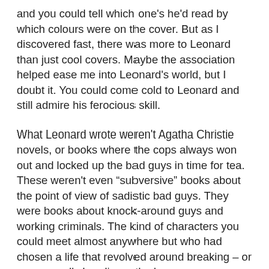and you could tell which one's he'd read by which colours were on the cover. But as I discovered fast, there was more to Leonard than just cool covers. Maybe the association helped ease me into Leonard's world, but I doubt it. You could come cold to Leonard and still admire his ferocious skill.
What Leonard wrote weren't Agatha Christie novels, or books where the cops always won out and locked up the bad guys in time for tea. These weren't even “subversive” books about the point of view of sadistic bad guys. They were books about knock-around guys and working criminals. The kind of characters you could meet almost anywhere but who had chosen a life that revolved around breaking – or more usually bending – the law.
But there was something else about Leonard that really affected me: the man could be screamingly funny. For a while, I thought that was his schtick; he was the guy who wrote the funny crime novels. But Leonard wasn't a one trick pony. Novels like Touch and Killshot showed a more serious side, and while perhaps they weren't as well received, I still